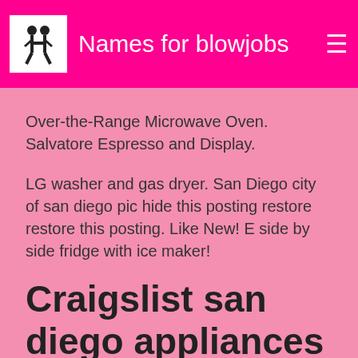Names for blowjobs
Over-the-Range Microwave Oven. Salvatore Espresso and Display.
LG washer and gas dryer. San Diego city of san diego pic hide this posting restore restore this posting. Like New! E side by side fridge with ice maker!
Craigslist san diego appliances